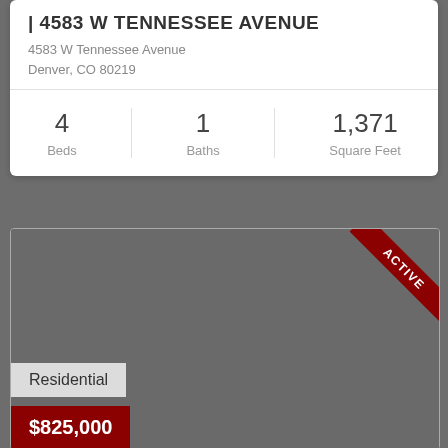| 4583 W TENNESSEE AVENUE
4583 W Tennessee Avenue
Denver, CO 80219
4   Beds   1   Baths   1,371   Square Feet
[Figure (photo): Property listing photo placeholder with dark gray background and an ACTIVE ribbon banner in the top-right corner. A 'Residential' label and '$825,000' price tag are overlaid at the bottom-left.]